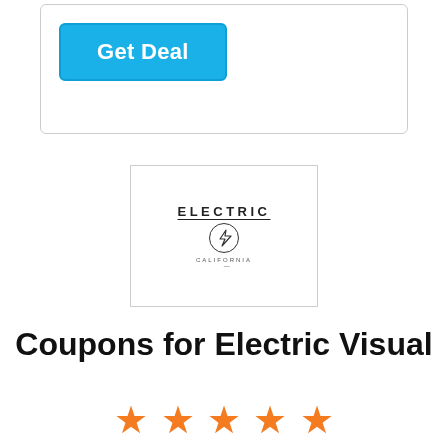[Figure (other): A blue 'Get Deal' button inside a rounded-corner box]
[Figure (logo): Electric Visual logo: the word ELECTRIC with a lightning bolt in a circle below, and 'CALIFORNIA' text beneath]
Coupons for Electric Visual
[Figure (other): Five orange star rating icons]